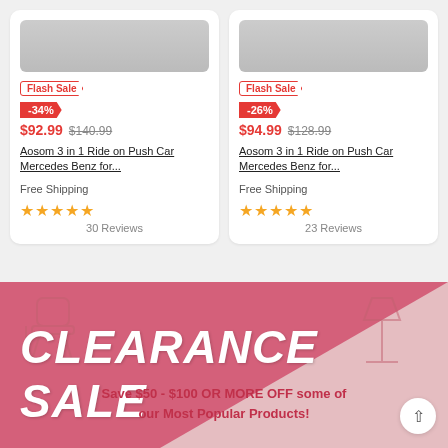[Figure (photo): Two product cards showing toy ride-on cars with product images at top (gray/cropped)]
Flash Sale
-34%
$92.99  $140.99
Aosom 3 in 1 Ride on Push Car Mercedes Benz for...
Free Shipping
30 Reviews
Flash Sale
-26%
$94.99  $128.99
Aosom 3 in 1 Ride on Push Car Mercedes Benz for...
Free Shipping
23 Reviews
[Figure (infographic): Clearance Sale promotional banner with pink/rose background, diagonal cream triangle, decorative furniture icons (office chair, lamp, couch, ottoman), large bold italic white text 'CLEARANCE SALE', and subtext 'Save $50 - $100 OR MORE OFF some of our Most Popular Products!']
Save $50 - $100 OR MORE OFF some of our Most Popular Products!